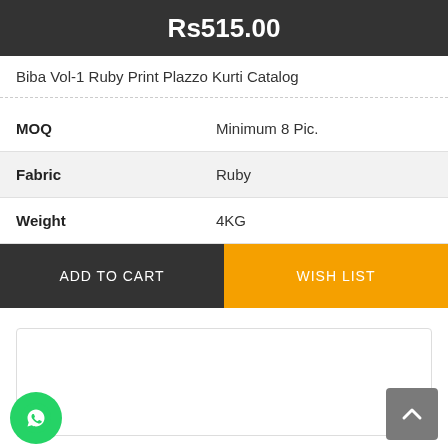Rs515.00
Biba Vol-1 Ruby Print Plazzo Kurti Catalog
| Property | Value |
| --- | --- |
| MOQ | Minimum 8 Pic. |
| Fabric | Ruby |
| Weight | 4KG |
ADD TO CART
WISH LIST
[Figure (screenshot): Lower content area box (empty white area with border)]
[Figure (logo): WhatsApp icon button (green circle with phone icon)]
[Figure (other): Back to top button (grey square with up arrow)]